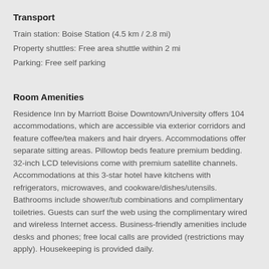Transport
Train station: Boise Station (4.5 km / 2.8 mi)
Property shuttles: Free area shuttle within 2 mi
Parking: Free self parking
Room Amenities
Residence Inn by Marriott Boise Downtown/University offers 104 accommodations, which are accessible via exterior corridors and feature coffee/tea makers and hair dryers. Accommodations offer separate sitting areas. Pillowtop beds feature premium bedding. 32-inch LCD televisions come with premium satellite channels. Accommodations at this 3-star hotel have kitchens with refrigerators, microwaves, and cookware/dishes/utensils. Bathrooms include shower/tub combinations and complimentary toiletries. Guests can surf the web using the complimentary wired and wireless Internet access. Business-friendly amenities include desks and phones; free local calls are provided (restrictions may apply). Housekeeping is provided daily.
In-room kitchen
Sitting area
Pillowtop beds